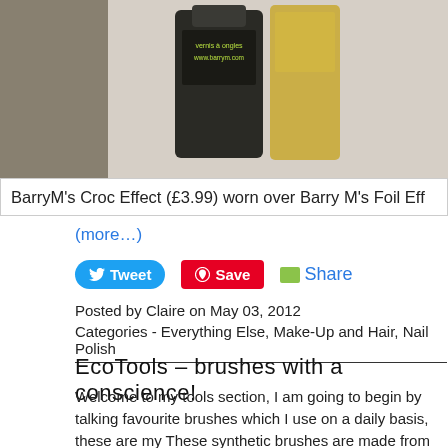[Figure (photo): Photo of Barry M nail polish bottles on textured cream background, with a hand partially visible on the right]
BarryM's Croc Effect (£3.99) worn over Barry M's Foil Eff
(more…)
[Figure (other): Tweet button (blue), Save button (red Pinterest), Share link with green icon]
Posted by Claire on May 03, 2012
Categories - Everything Else, Make-Up and Hair, Nail Polish
EcoTools – brushes with a conscience!
Welcome to my tools section, I am going to begin by talking favourite brushes which I use on a daily basis, these are my These synthetic brushes are made from taklon, bamboo an are 100% cruelty free and they are a brilliant find!
[Figure (photo): Partial photo at bottom, showing brushes or cosmetic tools against grey/brown background]